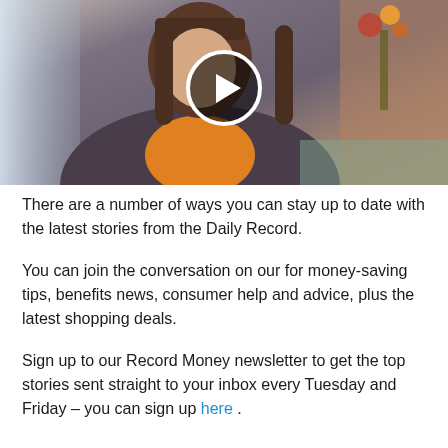[Figure (screenshot): Video thumbnail showing a woman with dark hair and bangs wearing an orange top and dark patterned jacket, seated indoors with a floral arrangement in the background. A white circular play button is overlaid in the center.]
There are a number of ways you can stay up to date with the latest stories from the Daily Record.
You can join the conversation on our for money-saving tips, benefits news, consumer help and advice, plus the latest shopping deals.
Sign up to our Record Money newsletter to get the top stories sent straight to your inbox every Tuesday and Friday – you can sign up here .